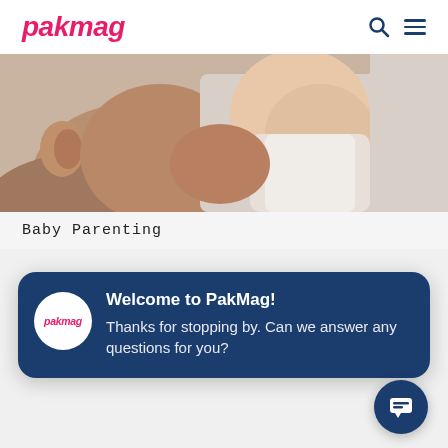pakmag
[Figure (photo): Close-up photo of a father kissing a baby on the cheek; baby wearing a white sleeveless outfit looks toward camera]
Baby Parenting
Welcome to PakMag!
Thanks for stopping by. Can we answer any questions for you?
[Figure (other): Dark blue circle chat button with chat/message icon]